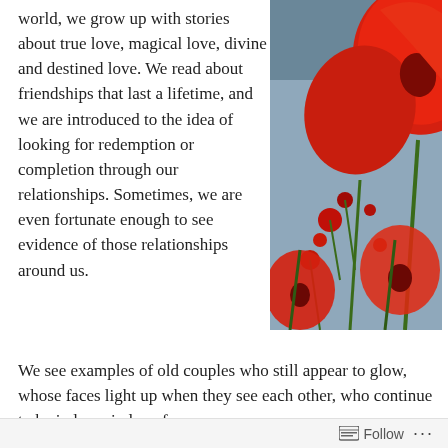world, we grow up with stories about true love, magical love, divine and destined love. We read about friendships that last a lifetime, and we are introduced to the idea of looking for redemption or completion through our relationships. Sometimes, we are even fortunate enough to see evidence of those relationships around us. We see examples of old couples who still appear to glow, whose faces light up when they see each other, who continue to be in love, in love forever.
[Figure (photo): Close-up photograph of bright red poppy flowers against a grey-blue sky background.]
However, everyone at some time has been hurt and...
Follow